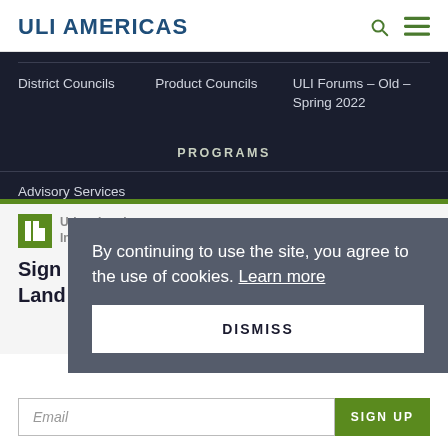ULI AMERICAS
District Councils
Product Councils
ULI Forums – Old – Spring 2022
PROGRAMS
Advisory Services
[Figure (logo): ULI – Urban Land Institute logo with green square icon]
Sign up for our e-newsletters and Land magazine...
By continuing to use the site, you agree to the use of cookies. Learn more
DISMISS
Email
SIGN UP